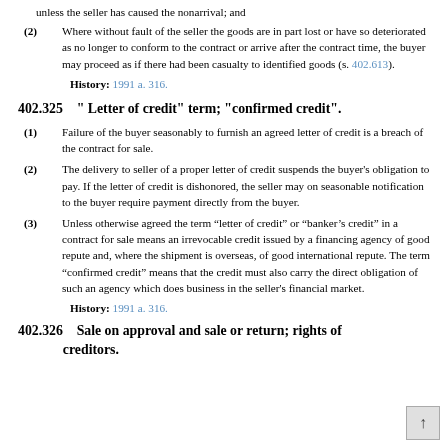unless the seller has caused the nonarrival; and
(2) Where without fault of the seller the goods are in part lost or have so deteriorated as no longer to conform to the contract or arrive after the contract time, the buyer may proceed as if there had been casualty to identified goods (s. 402.613).
History: 1991 a. 316.
402.325    " Letter of credit" term; "confirmed credit".
(1) Failure of the buyer seasonably to furnish an agreed letter of credit is a breach of the contract for sale.
(2) The delivery to seller of a proper letter of credit suspends the buyer's obligation to pay. If the letter of credit is dishonored, the seller may on seasonable notification to the buyer require payment directly from the buyer.
(3) Unless otherwise agreed the term “letter of credit” or “banker’s credit” in a contract for sale means an irrevocable credit issued by a financing agency of good repute and, where the shipment is overseas, of good international repute. The term “confirmed credit” means that the credit must also carry the direct obligation of such an agency which does business in the seller's financial market.
History: 1991 a. 316.
402.326    Sale on approval and sale or return; rights of creditors.